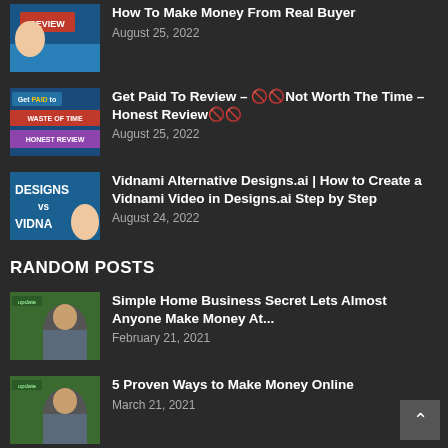[Figure (photo): Thumbnail image with REVIEW stamp and person]
How To Make Money From Real Buyer
August 25, 2022
[Figure (photo): Thumbnail with 'Get PAID to' text, 'WASTE OF TIME' and 'HONEST REVIEW' labels]
Get Paid To Review – 🚫🚫Not Worth The Time – Honest Review🚫🚫
August 25, 2022
[Figure (photo): Thumbnail with DESIGNS vs VIDNAMI text and person]
Vidnami Alternative Designs.ai | How to Create a Vidnami Video in Designs.ai Step by Step
August 24, 2022
RANDOM POSTS
[Figure (photo): Thumbnail with man in glasses and 'update' label]
Simple Home Business Secret Lets Almost Anyone Make Money At...
February 21, 2021
[Figure (photo): Thumbnail with man in glasses and 'update' label]
5 Proven Ways to Make Money Online
March 21, 2021